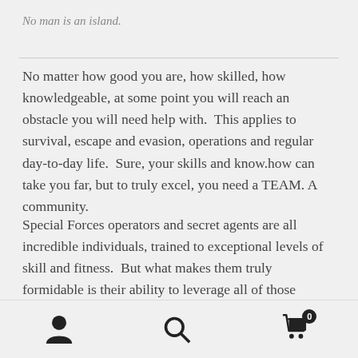No man is an island.
No matter how good you are, how skilled, how knowledgeable, at some point you will reach an obstacle you will need help with.  This applies to survival, escape and evasion, operations and regular day-to-day life.  Sure, your skills and know.how can take you far, but to truly excel, you need a TEAM. A community.
Special Forces operators and secret agents are all incredible individuals, trained to exceptional levels of skill and fitness.  But what makes them truly formidable is their ability to leverage all of those strengths to super-humal-like heights to seemingly perform the impossible.
User icon | Search icon | Cart icon with badge 0